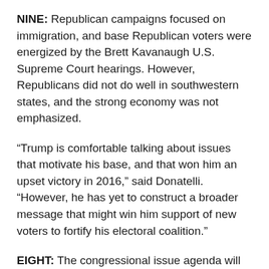NINE: Republican campaigns focused on immigration, and base Republican voters were energized by the Brett Kavanaugh U.S. Supreme Court hearings. However, Republicans did not do well in southwestern states, and the strong economy was not emphasized.
“Trump is comfortable talking about issues that motivate his base, and that won him an upset victory in 2016,” said Donatelli. “However, he has yet to construct a broader message that might win him support of new voters to fortify his electoral coalition.”
EIGHT: The congressional issue agenda will be altered with a Democratic House majority, including oversight investigations and scrutiny for the president’s revised trade treaty with Mexico and Canada. Progress on immigration and criminal justice reform may be